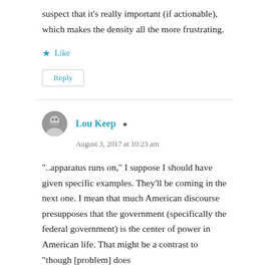suspect that it’s really important (if actionable), which makes the density all the more frustrating.
Like
Reply
Lou Keep
August 3, 2017 at 10:23 am
“..apparatus runs on,” I suppose I should have given specific examples. They’ll be coming in the next one. I mean that much American discourse presupposes that the government (specifically the federal government) is the center of power in American life. That might be a contrast to “though [problem] does